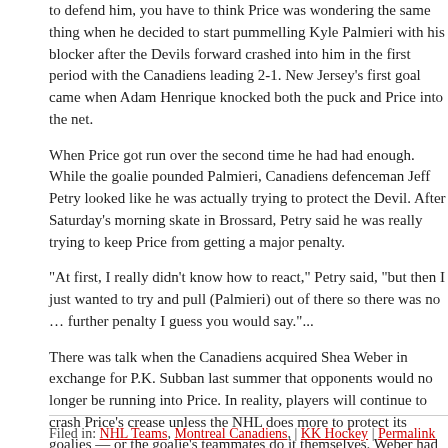to defend him, you have to think Price was wondering the same thing when he decided to start pummelling Kyle Palmieri with his blocker after the Devils forward crashed into him in the first period with the Canadiens leading 2-1. New Jersey's first goal came when Adam Henrique knocked both the puck and Price into the net.
When Price got run over the second time he had had enough. While the goalie pounded Palmieri, Canadiens defenceman Jeff Petry looked like he was actually trying to protect the Devil. After Saturday's morning skate in Brossard, Petry said he was really trying to keep Price from getting a major penalty.
“At first, I really didn’t know how to react,” Petry said, “but then I just wanted to try and pull (Palmieri) out of there so there was no … further penalty I guess you would say.”...
There was talk when the Canadiens acquired Shea Weber in exchange for P.K. Subban last summer that opponents would no longer be running into Price. In reality, players will continue to crash Price’s crease unless the NHL does more to protect its goalies — or the goalie’s teammates do it themselves. Weber had only one hit in 23:05 of ice time against the Devils
more
Filed in: NHL Teams, Montreal Canadiens, | KK Hockey | Permalink